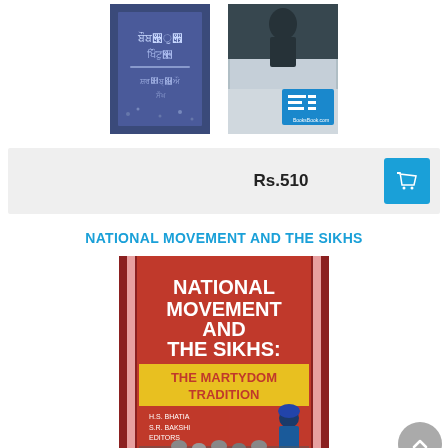[Figure (photo): Two book cover thumbnails side by side. Left: dark blue book with Punjabi script text. Right: grey/dark book cover with a logo badge (BooksBook.com) in bottom-right corner.]
Rs.510
NATIONAL MOVEMENT AND THE SIKHS
[Figure (photo): Book cover of 'National Movement and the Sikhs: The Martydom Tradition' by H.S. Bhatia, S.R. Bakshi (Editors). Red background with white bold title text and yellow subtitle. Shows a Sikh warrior figure at the bottom.]